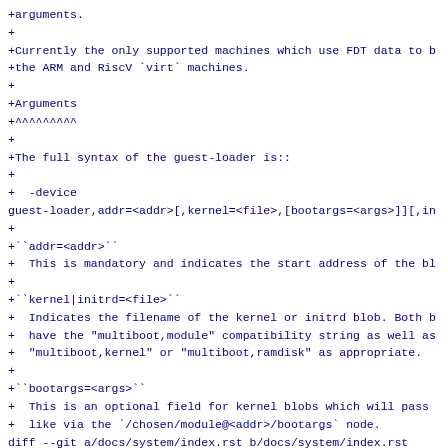+arguments.
+
+Currently the only supported machines which use FDT data to b
+the ARM and RiscV `virt` machines.
+
+Arguments
+^^^^^^^^^
+
+The full syntax of the guest-loader is::
+
+  -device
guest-loader,addr=<addr>[,kernel=<file>,[bootargs=<args>]][,in
+
+``addr=<addr>``
+  This is mandatory and indicates the start address of the bl
+
+``kernel|initrd=<file>``
+  Indicates the filename of the kernel or initrd blob. Both b
+  have the "multiboot,module" compatibility string as well as
+  "multiboot,kernel" or "multiboot,ramdisk" as appropriate.
+
+``bootargs=<args>``
+  This is an optional field for kernel blobs which will pass
+  like via the `/chosen/module@<addr>/bootargs` node.
diff --git a/docs/system/index.rst b/docs/system/index.rst